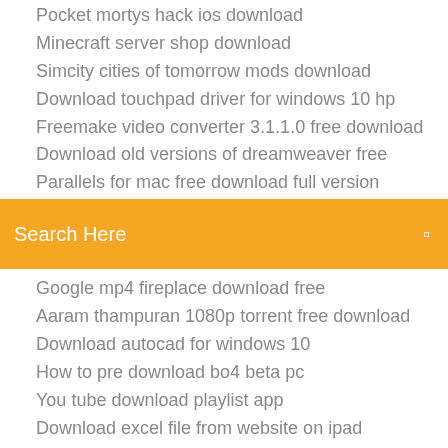Pocket mortys hack ios download
Minecraft server shop download
Simcity cities of tomorrow mods download
Download touchpad driver for windows 10 hp
Freemake video converter 3.1.1.0 free download
Download old versions of dreamweaver free
Parallels for mac free download full version
Search Here
Google mp4 fireplace download free
Aaram thampuran 1080p torrent free download
Download autocad for windows 10
How to pre download bo4 beta pc
You tube download playlist app
Download excel file from website on ipad
Cant view downloaded pictures android samsung s8
Team of teams summary pdf free download
Minecraft pe storm water download
Android java install download